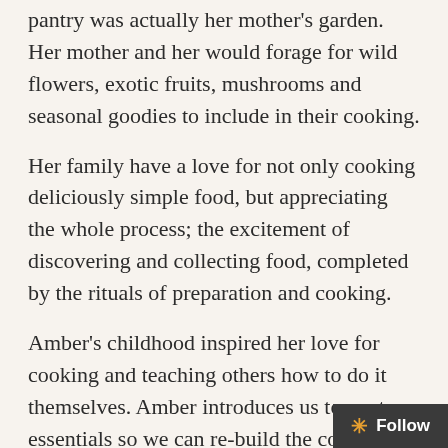Amber grew up in New Zealand where her pantry was actually her mother's garden. Her mother and her would forage for wild flowers, exotic fruits, mushrooms and seasonal goodies to include in their cooking.
Her family have a love for not only cooking deliciously simple food, but appreciating the whole process; the excitement of discovering and collecting food, completed by the rituals of preparation and cooking.
Amber's childhood inspired her love for cooking and teaching others how to do it themselves. Amber introduces us to pantry essentials so we can re-build the contents of our kitchen from the inside out. The Wholefood Pantry includes wholesome recipes for stocks, sauces, butters, milks, pickles